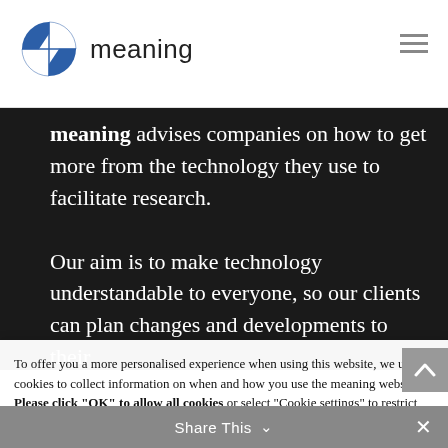meaning
meaning advises companies on how to get more from the technology they use to facilitate research.

Our aim is to make technology understandable to everyone, so our clients can plan changes and developments to their
To offer you a more personalised experience when using this website, we use cookies to collect information on when and how you use the meaning website. Please click "OK" to allow all cookies or select "Cookie settings" to restrict those you wish to allow or opt out of non-essential cookies.
Cookie settings  OK
Share This